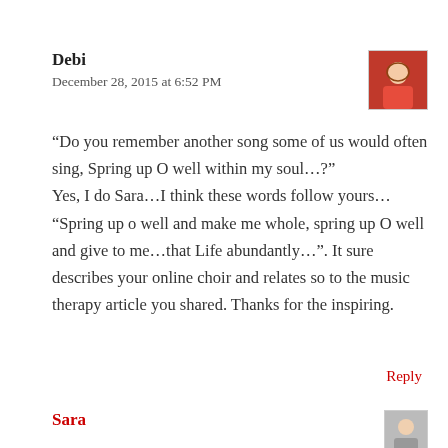Debi
December 28, 2015 at 6:52 PM
[Figure (photo): Avatar photo of Debi, a woman in a red jacket]
“Do you remember another song some of us would often sing, Spring up O well within my soul…?” Yes, I do Sara…I think these words follow yours… “Spring up o well and make me whole, spring up O well and give to me…that Life abundantly…”. It sure describes your online choir and relates so to the music therapy article you shared. Thanks for the inspiring.
Reply
Sara
[Figure (photo): Avatar photo of Sara]